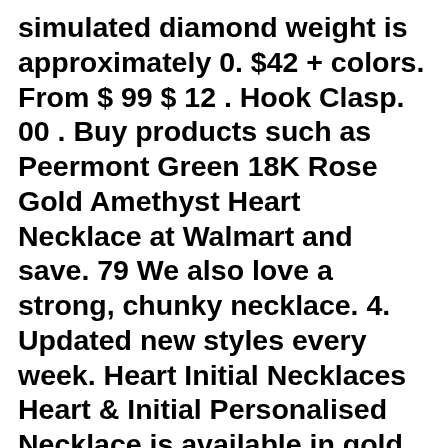simulated diamond weight is approximately 0. $42 + colors. From $ 99 $ 12 . Hook Clasp. 00 . Buy products such as Peermont Green 18K Rose Gold Amethyst Heart Necklace at Walmart and save. 79 We also love a strong, chunky necklace. 4. Updated new styles every week. Heart Initial Necklaces  Heart & Initial Personalised Necklace is available in gold or silver, and is great for everyday or as an addition to any outfit. Classic and modern items, luxurious finishes are durable, our jewellery is made of high-quality materials, and our strict quality control checks mean it can be worn